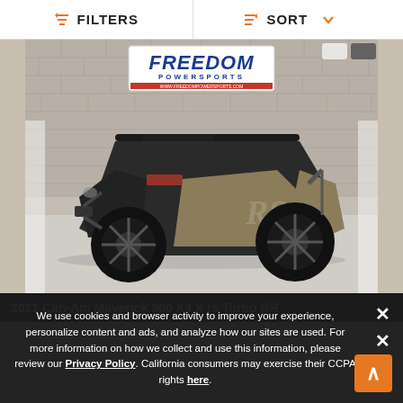FILTERS | SORT
[Figure (photo): Photo of a 2021 Can-Am Maverick 900 X3 X rs Turbo RR UTV parked in front of a Freedom Powersports dealership. The vehicle is black and tan/gold with 'RS' branding on the door.]
2021 Can-Am Maverick 900 X3 X rs Turbo RR
We use cookies and browser activity to improve your experience, personalize content and ads, and analyze how our sites are used. For more information on how we collect and use this information, please review our Privacy Policy. California consumers may exercise their CCPA rights here.